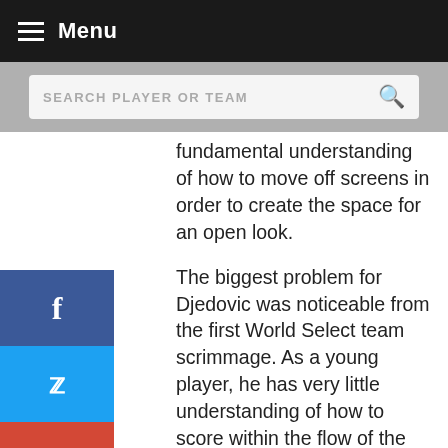Menu
SEARCH PLAYER OR TEAM
fundamental understanding of how to move off screens in order to create the space for an open look.
The biggest problem for Djedovic was noticeable from the first World Select team scrimmage. As a young player, he has very little understanding of how to score within the flow of the game. Rather than waiting for an open look, Djedovic will often force up a long range shot when he becomes impatient with the offense. In addition, the Bosnian has good footwork going to the basket, but seems to be average in terms of his first step and ball-handling skills.
In the game, Djedovic struggled to get any of